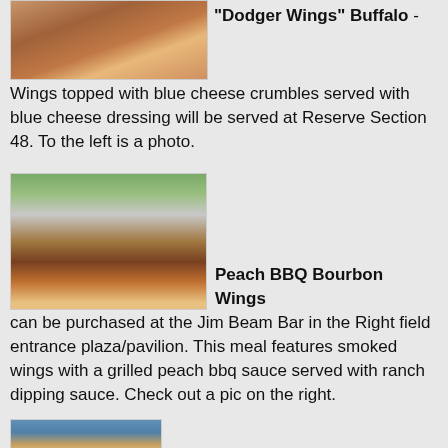[Figure (photo): Photo of Dodger Wings Buffalo - chicken wings topped with blue cheese crumbles in a paper basket with Dodgers branding]
“Dodger Wings” Buffalo - Wings topped with blue cheese crumbles served with blue cheese dressing will be served at Reserve Section 48. To the left is a photo.
[Figure (photo): Photo of Peach BBQ Bourbon Wings - smoked chicken wings with grilled peach bbq sauce and a cup of ranch dipping sauce on Dodgers branded paper]
Peach BBQ Bourbon Wings can be purchased at the Jim Beam Bar in the Right field entrance plaza/pavilion. This meal features smoked wings with a grilled peach bbq sauce served with ranch dipping sauce. Check out a pic on the right.
[Figure (photo): Partial photo at bottom showing what appears to be stadium seating or food item]